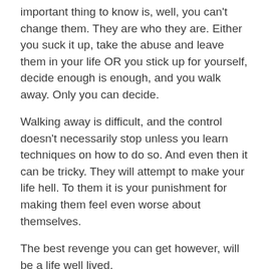important thing to know is, well, you can't change them. They are who they are. Either you suck it up, take the abuse and leave them in your life OR you stick up for yourself, decide enough is enough, and you walk away. Only you can decide.
Walking away is difficult, and the control doesn't necessarily stop unless you learn techniques on how to do so. And even then it can be tricky. They will attempt to make your life hell. To them it is your punishment for making them feel even worse about themselves.
The best revenge you can get however, will be a life well lived.
Though you are a victim of someone's hurtful